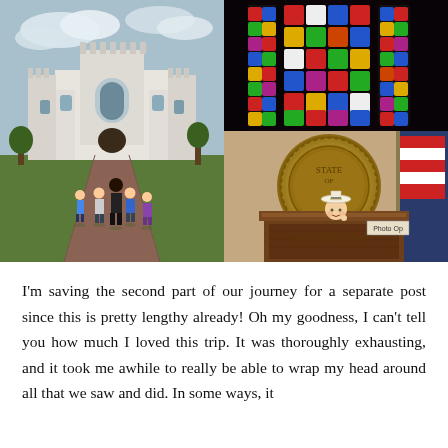[Figure (photo): Three-photo collage: left — family walking toward a white gothic-style castle building across green lawn; top-right — colorful stained glass windows with diamond pattern in red, blue, green, yellow; bottom-right — child wearing a white hat standing behind a wooden podium with a large state seal on the wall behind, with a 'Photo Op' sign visible.]
I'm saving the second part of our journey for a separate post since this is pretty lengthy already!  Oh my goodness, I can't tell you how much I loved this trip.  It was thoroughly exhausting, and it took me awhile to really be able to wrap my head around all that we saw and did.  In some ways, it